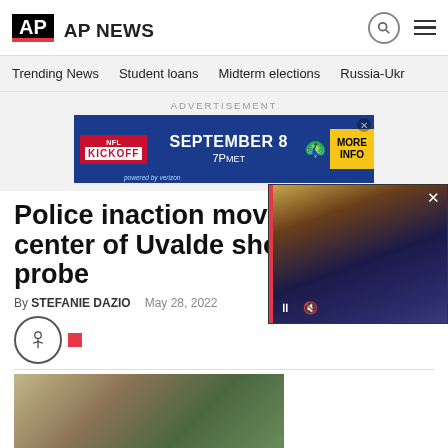AP  AP NEWS
Trending News    Student loans    Midterm elections    Russia-Ukr
ADVERTISEMENT
[Figure (other): NFL Kickoff advertisement banner: KICKOFF SEPTEMBER 8 7PMET MORE INFO, powered by Verizon, NBC peacock logo]
Police inaction moves to center of Uvalde shooting probe
By STEFANIE DAZIO    May 28, 2022
[Figure (photo): Outdoor photo showing trees and a brick building, related to the Uvalde school shooting]
[Figure (screenshot): Video overlay showing President Biden speaking at a podium, with pause and mute controls and a close button]